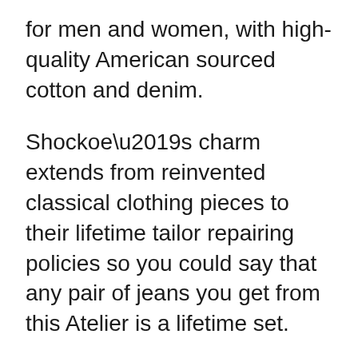for men and women, with high-quality American sourced cotton and denim.
Shockoe’s charm extends from reinvented classical clothing pieces to their lifetime tailor repairing policies so you could say that any pair of jeans you get from this Atelier is a lifetime set.
Todd Shelton: Founded in New Jersey back in 2006, by the man with the name upfront, Todd Shelton started out selling and manufacturing T-shirts before opening his factory in East...